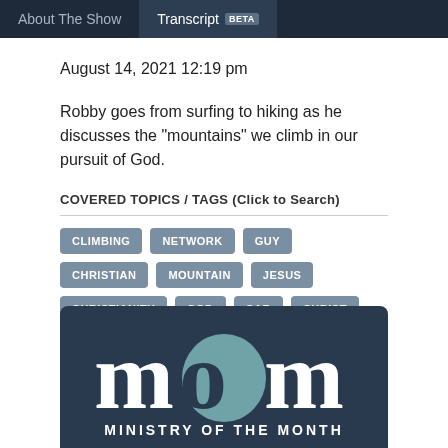About The Show | Transcript BETA
August 14, 2021 12:19 pm
Robby goes from surfing to hiking as he discusses the "mountains" we climb in our pursuit of God.
COVERED TOPICS / TAGS (Click to Search)
CLIMBING
NETWORK
GUY
CHRISTIAN
MOUNTAIN
JESUS
CHRISTIANITY
GOD
CAR
CHRIST
TRUTH
LOVE
[Figure (logo): Ministry of the Month (MOM) logo on dark navy background with large stylized 'mom' letters and a teal circle as the middle 'o']